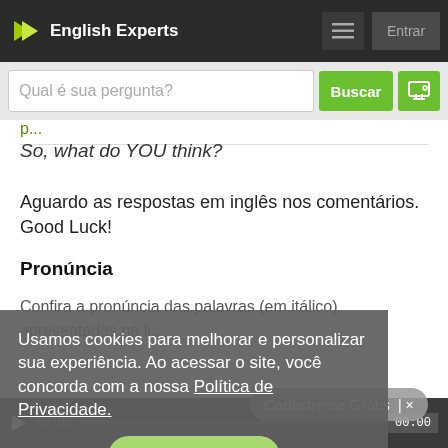English Experts — Entrar
Qual é sua pergunta? Buscar
So, what do YOU think?
Aguardo as respostas em inglês nos comentários. Good Luck!
Pronúncia
Confira a pronúncia das palavras (em itálico) apresentadas na li...
Usamos cookies para melhorar e personalizar sua experiência. Ao acessar o site, você concorda com a nossa Política de Privacidade.
Eu entendi!
Cadastre-se Grátis | ×
00:00   00:00